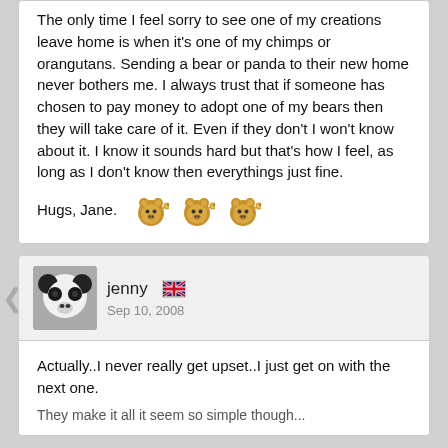The only time I feel sorry to see one of my creations leave home is when it's one of my chimps or orangutans. Sending a bear or panda to their new home never bothers me. I always trust that if someone has chosen to pay money to adopt one of my bears then they will take care of it. Even if they don't I won't know about it. I know it sounds hard but that's how I feel, as long as I don't know then everythings just fine.
Hugs, Jane. [bear emoji x3]
jenny [UK flag] Sep 10, 2008
Actually..I never really get upset..I just get on with the next one.